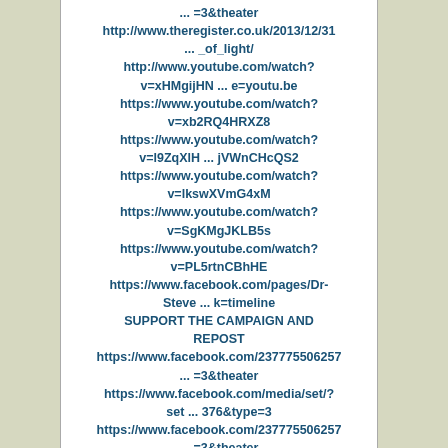... =3&theater
http://www.theregister.co.uk/2013/12/31 ... _of_light/
http://www.youtube.com/watch?v=xHMgijHN ... e=youtu.be
https://www.youtube.com/watch?v=xb2RQ4HRXZ8
https://www.youtube.com/watch?v=l9ZqXlH ... jVWnCHcQS2
https://www.youtube.com/watch?v=lkswXVmG4xM
https://www.youtube.com/watch?v=SgKMgJKLB5s
https://www.youtube.com/watch?v=PL5rtnCBhHE
https://www.facebook.com/pages/Dr-Steve ... k=timeline
SUPPORT THE CAMPAIGN AND REPOST
https://www.facebook.com/237775506257 ... =3&theater
https://www.facebook.com/media/set/?set ... 376&type=3
https://www.facebook.com/237775506257 ... =3&theater
https://www.facebook.com/media/set/?set ... 376&type=3
http://www.theregister.co.uk/2013/12/31 ... _of_light/
THIS SERVICE IS PRESENTED BY
https://www.facebook.com/pages/SD_ECI